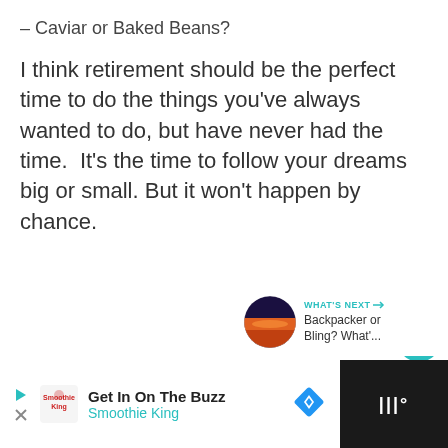– Caviar or Baked Beans?
I think retirement should be the perfect time to do the things you've always wanted to do, but have never had the time.  It's the time to follow your dreams big or small. But it won't happen by chance.
[Figure (infographic): UI panel with teal heart/like button, count of 1, and share button]
[Figure (infographic): What's Next panel showing a sunset thumbnail with text: Backpacker or Bling? What'...]
[Figure (infographic): Advertisement bar: Get In On The Buzz - Smoothie King, with play button, logo, diamond nav icon, and dark right panel]